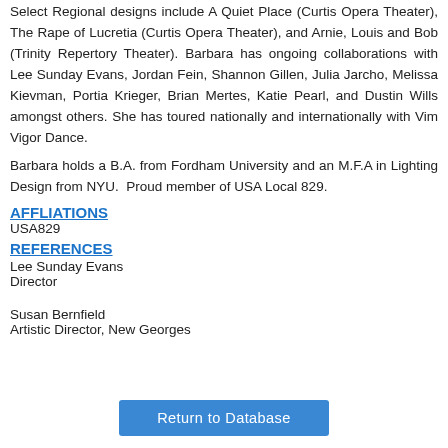Select Regional designs include A Quiet Place (Curtis Opera Theater), The Rape of Lucretia (Curtis Opera Theater), and Arnie, Louis and Bob (Trinity Repertory Theater). Barbara has ongoing collaborations with Lee Sunday Evans, Jordan Fein, Shannon Gillen, Julia Jarcho, Melissa Kievman, Portia Krieger, Brian Mertes, Katie Pearl, and Dustin Wills amongst others. She has toured nationally and internationally with Vim Vigor Dance.
Barbara holds a B.A. from Fordham University and an M.F.A in Lighting Design from NYU.  Proud member of USA Local 829.
AFFLIATIONS
USA829
REFERENCES
Lee Sunday Evans
Director
Susan Bernfield
Artistic Director, New Georges
Return to Database